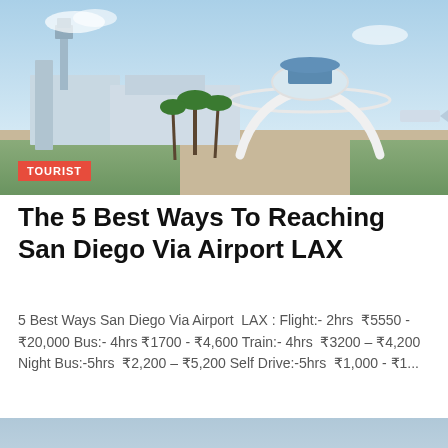[Figure (photo): Aerial/ground view of LAX airport with the Theme Building (white arched structure) and control tower visible against a blue sky with palm trees.]
TOURIST
The 5 Best Ways To Reaching San Diego Via Airport LAX
5 Best Ways San Diego Via Airport  LAX : Flight:- 2hrs  ₹5550 - ₹20,000 Bus:- 4hrs ₹1700 - ₹4,600 Train:- 4hrs  ₹3200 – ₹4,200 Night Bus:-5hrs  ₹2,200 – ₹5,200 Self Drive:-5hrs  ₹1,000 - ₹1...
[Figure (photo): Aerial view of a smaller regional airport tarmac with terminal buildings, palm trees, parked aircraft, and a plane in the foreground.]